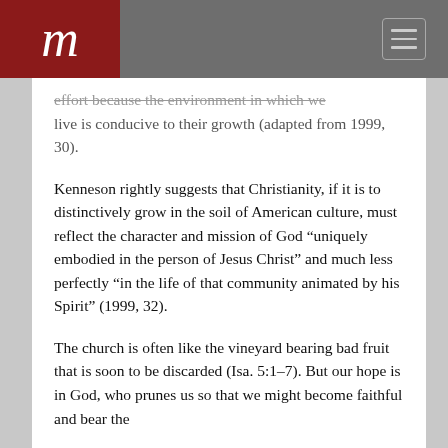m
effort because the environment in which we live is conducive to their growth (adapted from 1999, 30).
Kenneson rightly suggests that Christianity, if it is to distinctively grow in the soil of American culture, must reflect the character and mission of God “uniquely embodied in the person of Jesus Christ” and much less perfectly “in the life of that community animated by his Spirit” (1999, 32).
The church is often like the vineyard bearing bad fruit that is soon to be discarded (Isa. 5:1–7). But our hope is in God, who prunes us so that we might become faithful and bear the